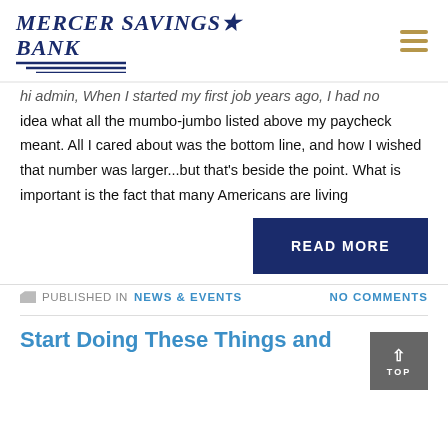[Figure (logo): Mercer Savings Bank logo with italic bold serif text and decorative lines, plus hamburger menu icon]
hi admin,  When I started my first job years ago, I had no idea what all the mumbo-jumbo listed above my paycheck meant.  All I cared about was the bottom line, and how I wished that number was larger...but that's beside the point. What is important is the fact that many Americans are living
READ MORE
PUBLISHED IN NEWS & EVENTS   NO COMMENTS
Start Doing These Things and